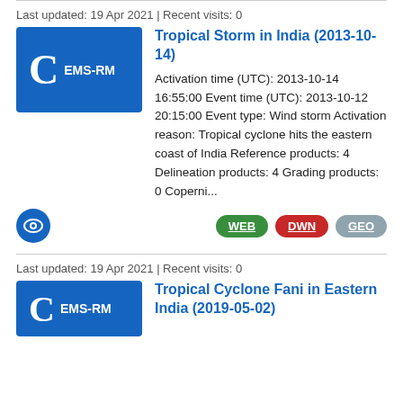Last updated: 19 Apr 2021 | Recent visits: 0
[Figure (logo): Blue rectangle with large white C and EMS-RM text]
Tropical Storm in India (2013-10-14)
Activation time (UTC): 2013-10-14 16:55:00 Event time (UTC): 2013-10-12 20:15:00 Event type: Wind storm Activation reason: Tropical cyclone hits the eastern coast of India Reference products: 4 Delineation products: 4 Grading products: 0 Coperni...
[Figure (logo): Blue circle with eye icon]
WEB DWN GEO
Last updated: 19 Apr 2021 | Recent visits: 0
[Figure (logo): Blue rectangle with large white C and EMS-RM text]
Tropical Cyclone Fani in Eastern India (2019-05-02)